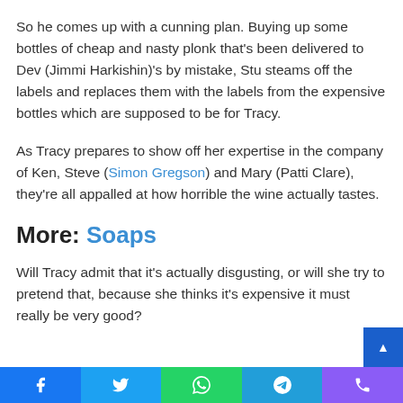So he comes up with a cunning plan. Buying up some bottles of cheap and nasty plonk that's been delivered to Dev (Jimmi Harkishin)'s by mistake, Stu steams off the labels and replaces them with the labels from the expensive bottles which are supposed to be for Tracy.
As Tracy prepares to show off her expertise in the company of Ken, Steve (Simon Gregson) and Mary (Patti Clare), they're all appalled at how horrible the wine actually tastes.
More: Soaps
Will Tracy admit that it's actually disgusting, or will she try to pretend that, because she thinks it's expensive it must really be very good?